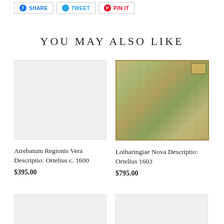SHARE  TWEET  PIN IT
YOU MAY ALSO LIKE
[Figure (photo): Blank/white product image placeholder for Atrebatum Regionis Vera Descriptio]
Atrebatum Regionis Vera Descriptio: Ortelius c. 1600
$395.00
[Figure (map): Antique map - Lotharingiae Nova Descriptio by Ortelius 1603, showing historical region with rivers, towns, and decorative border]
Lotharingiae Nova Descriptio: Ortelius 1603
$795.00
[Figure (photo): Partial bottom-left product image placeholder]
[Figure (photo): Partial bottom-right product image placeholder]